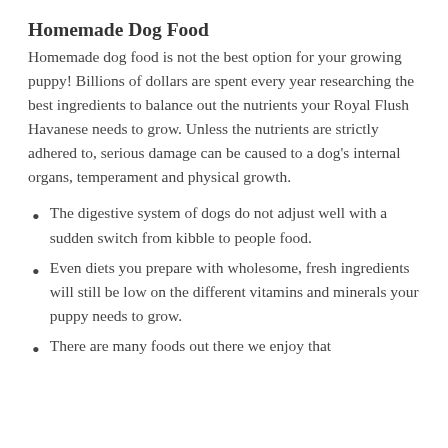Homemade Dog Food
Homemade dog food is not the best option for your growing puppy! Billions of dollars are spent every year researching the best ingredients to balance out the nutrients your Royal Flush Havanese needs to grow. Unless the nutrients are strictly adhered to, serious damage can be caused to a dog’s internal organs, temperament and physical growth.
The digestive system of dogs do not adjust well with a sudden switch from kibble to people food.
Even diets you prepare with wholesome, fresh ingredients will still be low on the different vitamins and minerals your puppy needs to grow.
There are many foods out there we enjoy that can bearious for dogs.